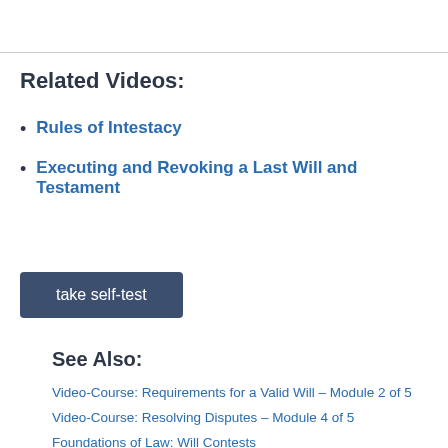Related Videos:
Rules of Intestacy
Executing and Revoking a Last Will and Testament
take self-test
See Also:
Video-Course: Requirements for a Valid Will – Module 2 of 5
Video-Course: Resolving Disputes – Module 4 of 5
Foundations of Law: Will Contests